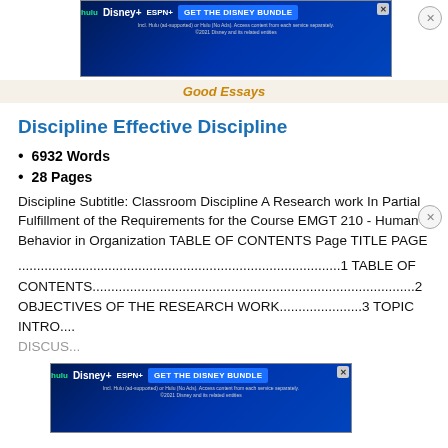[Figure (screenshot): Disney Bundle advertisement banner at top of page]
Good Essays
Discipline Effective Discipline
6932 Words
28 Pages
Discipline Subtitle: Classroom Discipline A Research work In Partial Fulfillment of the Requirements for the Course EMGT 210 - Human Behavior in Organization TABLE OF CONTENTS Page TITLE PAGE
......................................................................................1 TABLE OF CONTENTS......................................................................................2 OBJECTIVES OF THE RESEARCH WORK......................3 TOPIC INTRODUCTION......................4 DISCUS...
[Figure (screenshot): Disney Bundle advertisement banner at bottom of page]